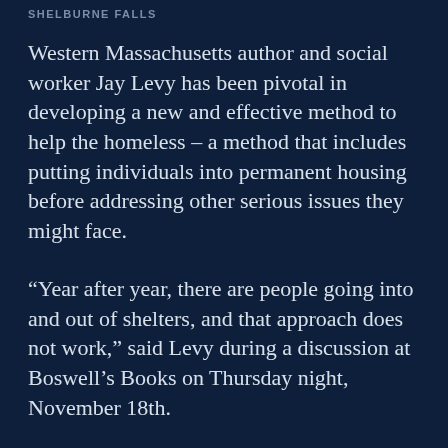SHELBURNE FALLS
Western Massachusetts author and social worker Jay Levy has been pivotal in developing a new and effective method to help the homeless – a method that includes putting individuals into permanent housing before addressing other serious issues they might face.
“Year after year, there are people going into and out of shelters, and that approach does not work,” said Levy during a discussion at Boswell’s Books on Thursday night, November 18th.
A perennial issue during the cold holiday